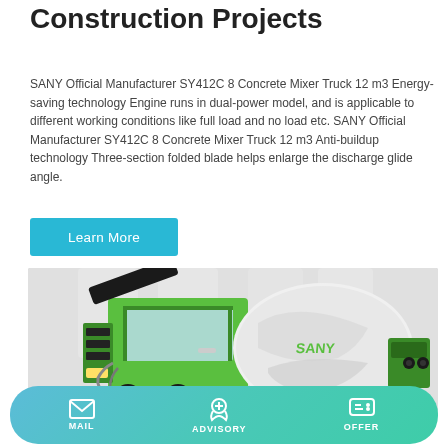Construction Projects
SANY Official Manufacturer SY412C 8 Concrete Mixer Truck 12 m3 Energy-saving technology Engine runs in dual-power model, and is applicable to different working conditions like full load and no load etc. SANY Official Manufacturer SY412C 8 Concrete Mixer Truck 12 m3 Anti-buildup technology Three-section folded blade helps enlarge the discharge glide angle.
Learn More
[Figure (photo): Green SANY concrete mixer truck (SY412C) photographed in a studio with white/grey background, showing the cab, mixing drum with SANY branding, and mechanical components.]
MAIL   ADVISORY   OFFER